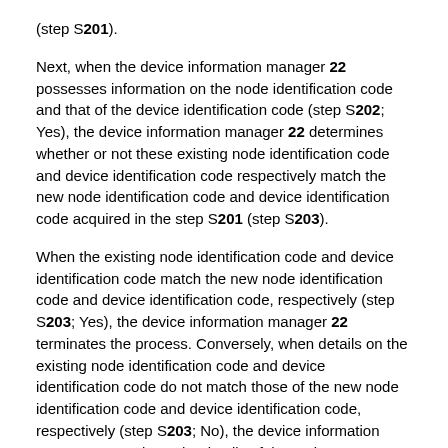(step S201).
Next, when the device information manager 22 possesses information on the node identification code and that of the device identification code (step S202; Yes), the device information manager 22 determines whether or not these existing node identification code and device identification code respectively match the new node identification code and device identification code acquired in the step S201 (step S203).
When the existing node identification code and device identification code match the new node identification code and device identification code, respectively (step S203; Yes), the device information manager 22 terminates the process. Conversely, when details on the existing node identification code and device identification code do not match those of the new node identification code and device identification code, respectively (step S203; No), the device information manager 22 updates the details of the node identification code and that of the device identification code with the details of the new node identification code and that of the new device identification code.
In addition, when the device information manager 22 does not possess information on the node identification code of the communication adapter 30 and that of the device identification code (step S202; No), the device information manager 22 sets and stores the new node identification code